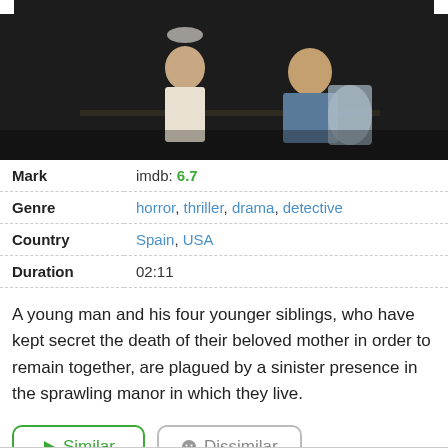[Figure (photo): Movie still showing two young people (a child and a teenager) in a dimly lit scene, dark background]
| Mark | imdb: 6.7 |
| Genre | horror, thriller, drama, detective |
| Country | Spain, USA |
| Duration | 02:11 |
A young man and his four younger siblings, who have kept secret the death of their beloved mother in order to remain together, are plagued by a sinister presence in the sprawling manor in which they live.
Similar | Dissimilar